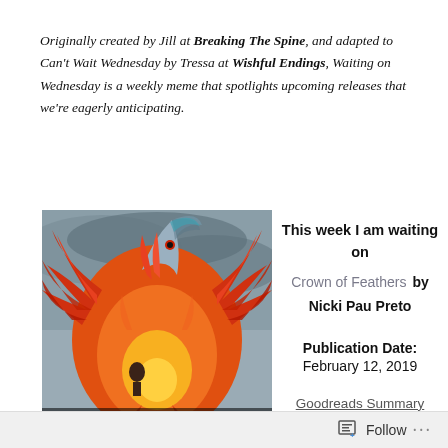Originally created by Jill at Breaking The Spine, and adapted to Can't Wait Wednesday by Tressa at Wishful Endings, Waiting on Wednesday is a weekly meme that spotlights upcoming releases that we're eagerly anticipating.
[Figure (illustration): Book cover of 'Crown of Feathers' showing a large fiery phoenix bird with flames, with a person visible below it against a stormy sky background. The word CROWN is partially visible at the bottom.]
This week I am waiting on Crown of Feathers by Nicki Pau Preto
Publication Date: February 12, 2019
Goodreads Summary
I had a sister, once...
Follow ···